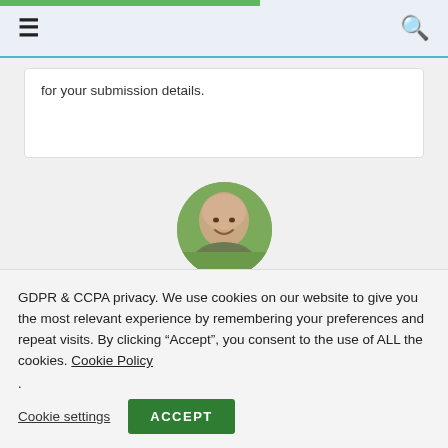Navigation bar with hamburger menu and search icon
for your submission details.
[Figure (photo): Circular profile photo of Benjamin Ehinger, a smiling bald man outdoors]
Benjamin Ehinger
GDPR & CCPA privacy. We use cookies on our website to give you the most relevant experience by remembering your preferences and repeat visits. By clicking "Accept", you consent to the use of ALL the cookies. Cookie Policy
.
Cookie settings   ACCEPT